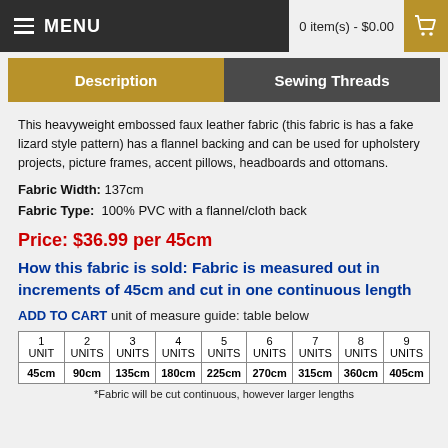MENU   0 item(s) - $0.00
| Description | Sewing Threads |
| --- | --- |
This heavyweight embossed faux leather fabric (this fabric is has a fake lizard style pattern) has a flannel backing and can be used for upholstery projects, picture frames, accent pillows, headboards and ottomans.
Fabric Width: 137cm
Fabric Type: 100% PVC with a flannel/cloth back
Price: $36.99 per 45cm
How this fabric is sold: Fabric is measured out in increments of 45cm and cut in one continuous length
ADD TO CART unit of measure guide: table below
| 1 UNIT | 2 UNITS | 3 UNITS | 4 UNITS | 5 UNITS | 6 UNITS | 7 UNITS | 8 UNITS | 9 UNITS |
| --- | --- | --- | --- | --- | --- | --- | --- | --- |
| 45cm | 90cm | 135cm | 180cm | 225cm | 270cm | 315cm | 360cm | 405cm |
*Fabric will be cut continuous, however larger lengths